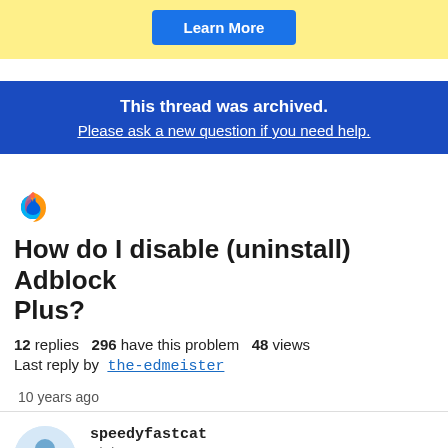[Figure (other): Yellow banner with 'Learn More' blue button]
This thread was archived.
Please ask a new question if you need help.
[Figure (logo): Firefox logo icon]
How do I disable (uninstall) Adblock Plus?
12 replies  296 have this problem  48 views
Last reply by the-edmeister
10 years ago
speedyfastcat
2/2/11, 7:36 PM